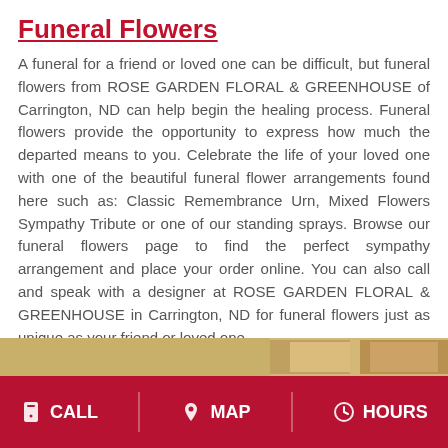Funeral Flowers
A funeral for a friend or loved one can be difficult, but funeral flowers from ROSE GARDEN FLORAL & GREENHOUSE of Carrington, ND can help begin the healing process. Funeral flowers provide the opportunity to express how much the departed means to you. Celebrate the life of your loved one with one of the beautiful funeral flower arrangements found here such as: Classic Remembrance Urn, Mixed Flowers Sympathy Tribute or one of our standing sprays. Browse our funeral flowers page to find the perfect sympathy arrangement and place your order online. You can also call and speak with a designer at ROSE GARDEN FLORAL & GREENHOUSE in Carrington, ND for funeral flowers just as unique as your friend or loved one.
[Figure (photo): Partial view of a floral arrangement photo strip at the bottom of the content area]
CALL   MAP   HOURS